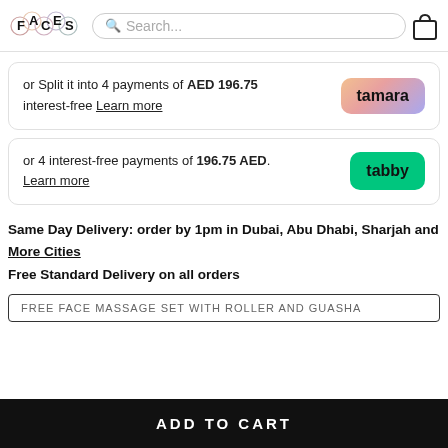FACES | Search... | Cart
or Split it into 4 payments of AED 196.75 interest-free Learn more — tamara
or 4 interest-free payments of 196.75 AED. Learn more — tabby
Same Day Delivery: order by 1pm in Dubai, Abu Dhabi, Sharjah and More Cities
Free Standard Delivery on all orders
FREE FACE MASSAGE SET WITH ROLLER AND GUASHA
ADD TO CART